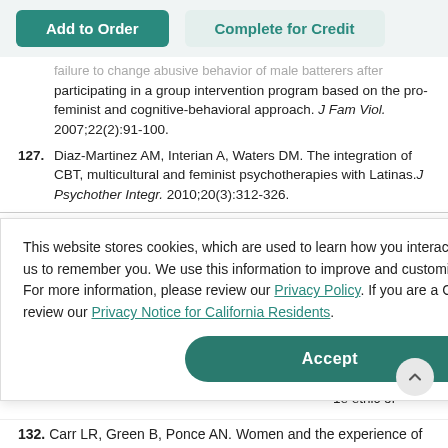[Figure (screenshot): UI buttons: 'Add to Order' (dark teal) and 'Complete for Credit' (light teal) on a light background bar]
failure to change abusive behavior of male batterers after participating in a group intervention program based on the pro-feminist and cognitive-behavioral approach. J Fam Viol. 2007;22(2):91-100.
127. Diaz-Martinez AM, Interian A, Waters DM. The integration of CBT, multicultural and feminist psychotherapies with Latinas. J Psychother Integr. 2010;20(3):312-326.
This website stores cookies, which are used to learn how you interact with our website and allow us to remember you. We use this information to improve and customize your browsing experience. For more information, please review our Privacy Policy. If you are a California resident, please review our Privacy Notice for California Residents.
Accept
132. Carr LR, Green B, Ponce AN. Women and the experience of